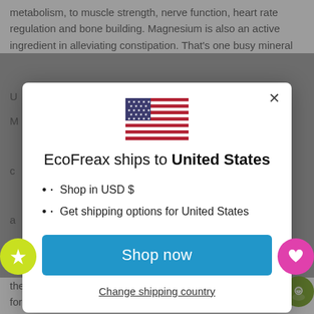metabolism, to muscle strength, nerve function, heart rate regulation and bone building. Magnesium is also an active ingredient in alleviating constipation. That's one busy mineral
[Figure (screenshot): Modal dialog popup for EcoFreax shipping country selector showing US flag, title 'EcoFreax ships to United States', bullet points for USD and US shipping options, a blue 'Shop now' button, and a 'Change shipping country' link. There are floating badge icons (yellow star, pink heart) on the left and right edges.]
therapeutic dose of 200mg of pure e form known for its superior absorption and gentleness on the